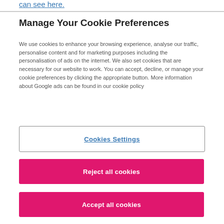can see here.
Manage Your Cookie Preferences
We use cookies to enhance your browsing experience, analyse our traffic, personalise content and for marketing purposes including the personalisation of ads on the internet. We also set cookies that are necessary for our website to work. You can accept, decline, or manage your cookie preferences by clicking the appropriate button. More information about Google ads can be found in our cookie policy
Cookies Settings
Reject all cookies
Accept all cookies